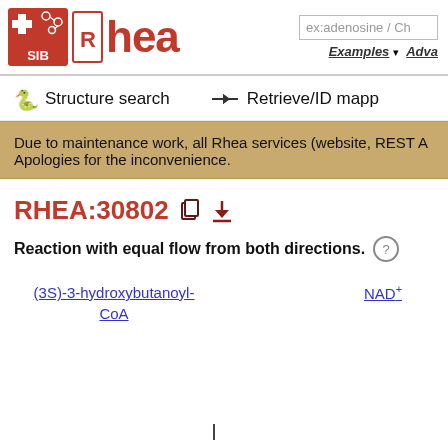[Figure (logo): SIB Rhea logo with red SIB square icon and red Rhea text]
ex:adenosine / Ch
Examples ▾  Adva
Structure search
Retrieve/ID mapp
Due to maintenance work, all Rhea services (website, REST A
Apologies for the inconvenience.
RHEA:30802
Reaction with equal flow from both directions.
(3S)-3-hydroxybutanoyl-CoA
NAD+